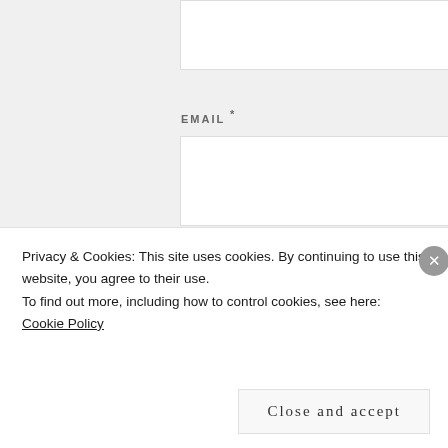EMAIL *
[Figure (screenshot): Email input text field (white rectangle)]
WEBSITE
[Figure (screenshot): Website input text field (white rectangle)]
[Figure (screenshot): Teal/green submit button]
Privacy & Cookies: This site uses cookies. By continuing to use this website, you agree to their use.
To find out more, including how to control cookies, see here: Cookie Policy
Close and accept